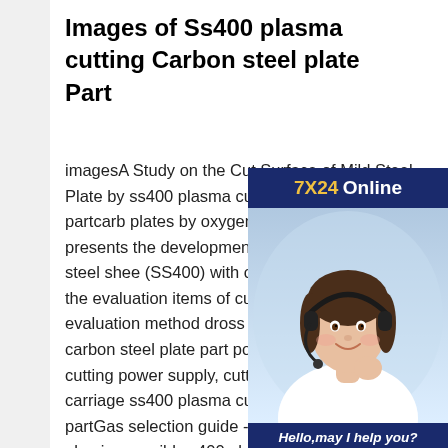Images of Ss400 plasma cutting Carbon steel plate Part
imagesA Study on the Cut Surface of Mild Steel Plate by ss400 plasma cutting carbon steel plate partcarb plates by oxygen plasma arc cutti paper presents the development surface quality for mild steel shee (SS400) with oxygen plasma arc Given the evaluation items of cut quality, a new evaluation method dross ss400 plasma cutting carbon steel plate part posed of such parts as cutting power supply, cutting torch or blowpipe, carriage ss400 plasma cutting carbon steel plate partGas selection guide - plasma cutting aluminum, mild ss400 plasma cutting carbon steel plate partFor
[Figure (infographic): Customer service chat widget with '7X24 Online' header in dark blue, photo of smiling woman with headset, 'Hello,may I help you?' text in dark blue footer, and 'Get Latest Price' yellow button.]